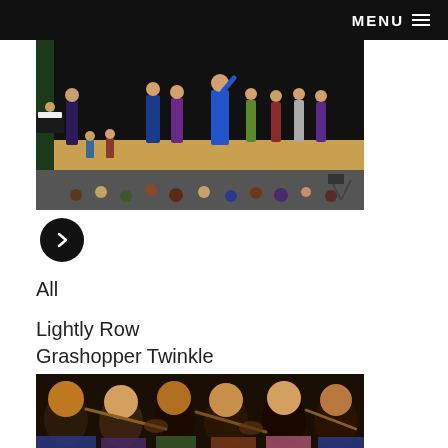MENU
[Figure (photo): Children performing on a stage with a conductor/teacher raising hand, audience of children seated in front, auditorium setting]
[Figure (other): Black circular next/arrow button pointing right]
All
Lightly Row
Grashopper Twinkle
[Figure (photo): Children playing violins in a group, close-up view]